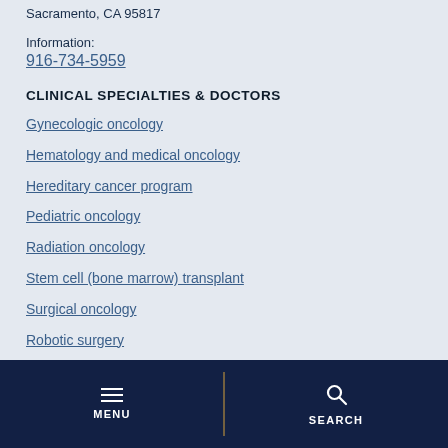Sacramento, CA 95817
Information:
916-734-5959
CLINICAL SPECIALTIES & DOCTORS
Gynecologic oncology
Hematology and medical oncology
Hereditary cancer program
Pediatric oncology
Radiation oncology
Stem cell (bone marrow) transplant
Surgical oncology
Robotic surgery
MENU   SEARCH